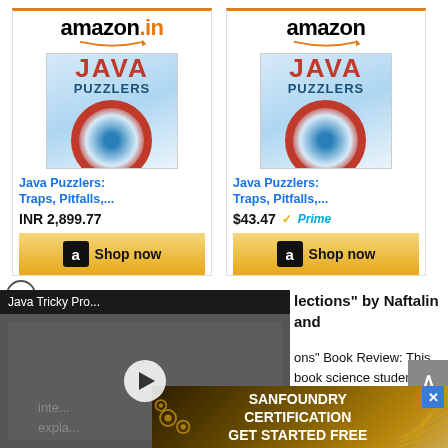[Figure (screenshot): Amazon.in advertisement card for Java Puzzlers book showing price INR 2,899.77 and Shop now button]
[Figure (screenshot): Amazon advertisement card for Java Puzzlers book showing price $43.47 with Prime badge and Shop now button]
[Figure (screenshot): Video overlay showing Java Tricky Pro... video thumbnail with play button]
lections" by Naftalin and
ons" Book Review: This book science students and people
inte... ...rate expl... ...vers
[Figure (screenshot): Sanfoundry Certification GET STARTED FREE banner advertisement with gear icons]